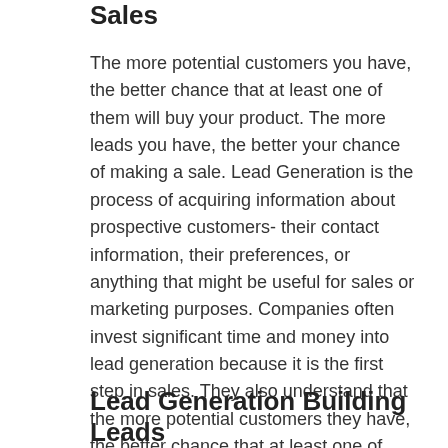Sales
The more potential customers you have, the better chance that at least one of them will buy your product. The more leads you have, the better your chance of making a sale. Lead Generation is the process of acquiring information about prospective customers- their contact information, their preferences, or anything that might be useful for sales or marketing purposes. Companies often invest significant time and money into lead generation because it is the first step in sales. They also understand that the more potential customers they have, the better chance that at least one of them will buy their product.
Lead Generation Building Leads